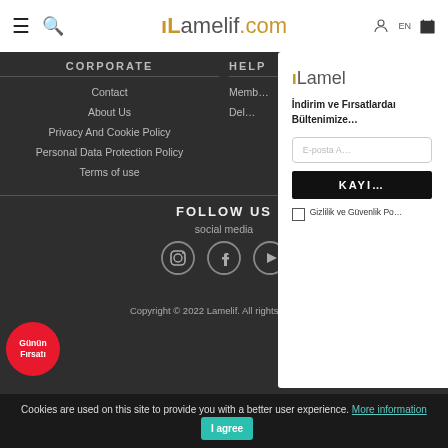Lamelif.com
CORPORATE
HELP
Contact
About Us
Privacy And Cookie Policy
Personal Data Protection Policy
Terms of use
FOLLOW US
social media
[Figure (screenshot): Social media icons: Instagram, Facebook, YouTube]
[Figure (screenshot): Modal popup with Lamelif logo, newsletter signup form with email input, KAYIT button, and Gizlilik ve Güvenlik checkbox]
Günün Fırsatı
Copyright © 2022 Lamelif. All rights reserved
Cookies are used on this site to provide you with a better user experience. More information  I agree